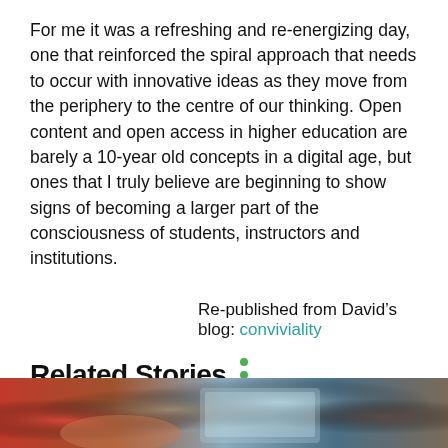For me it was a refreshing and re-energizing day, one that reinforced the spiral approach that needs to occur with innovative ideas as they move from the periphery to the centre of our thinking. Open content and open access in higher education are barely a 10-year old concepts in a digital age, but ones that I truly believe are beginning to show signs of becoming a larger part of the consciousness of students, instructors and institutions.
Re-published from David's blog: conviviality
Related Stories
[Figure (photo): Partial photo strip at bottom of page showing hands near a laptop/tablet, blurred background with warm and cool tones]